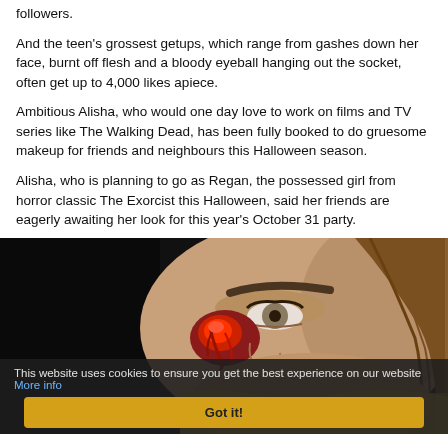followers.
And the teen's grossest getups, which range from gashes down her face, burnt off flesh and a bloody eyeball hanging out the socket, often get up to 4,000 likes apiece.
Ambitious Alisha, who would one day love to work on films and TV series like The Walking Dead, has been fully booked to do gruesome makeup for friends and neighbours this Halloween season.
Alisha, who is planning to go as Regan, the possessed girl from horror classic The Exorcist this Halloween, said her friends are eagerly awaiting her look for this year's October 31 party.
[Figure (photo): Close-up photo of a person's face with gruesome Halloween makeup showing a bloody wound near the nose/eye area, dark background]
This website uses cookies to ensure you get the best experience on our website More info
Got it!